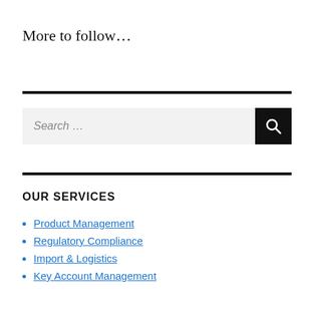More to follow…
OUR SERVICES
Product Management
Regulatory Compliance
Import & Logistics
Key Account Management